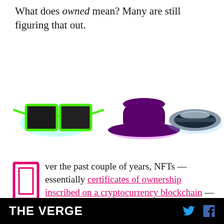What does owned mean? Many are still figuring that out.
[Figure (illustration): Three glowing NFT collectible items against a white background: green-framed pixel sunglasses with cyan glow, a purple wide-brim hat with magenta/purple glow, and a silver/dark wristband with blue glow.]
ver the past couple of years, NFTs — essentially certificates of ownership inscribed on a cryptocurrency blockchain — have exploded into a lucrative and growing market. Some of the most sought-after NFTs are collectibles: typically limited edition runs of unique
THE VERGE